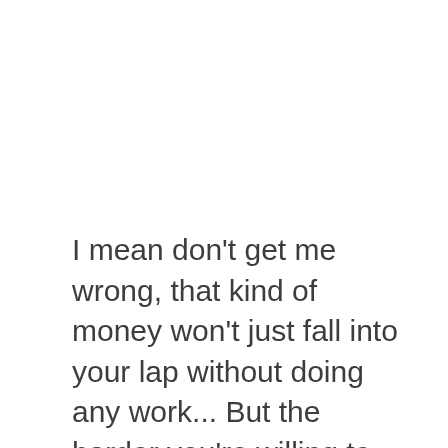I mean don't get me wrong, that kind of money won't just fall into your lap without doing any work... But the harder you're willing to work at it, the more you stand to earn with it.
So if you're looking to get started but don't know which route you should go down or which program you should join (and don't want to waste money on bogus things that don't actually work), then I'd highly recommend checking out